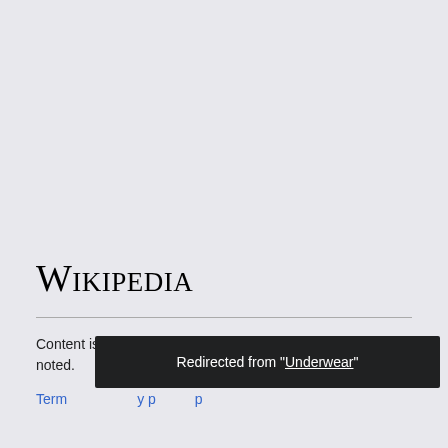Wikipedia
Content is available under CC BY-SA 3.0 unless otherwise noted.
Terms · Privacy policy · p
Redirected from "Underwear"